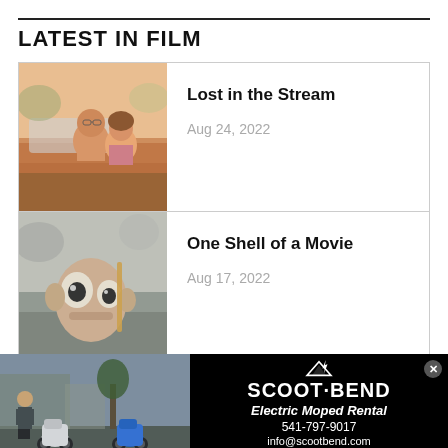LATEST IN FILM
[Figure (photo): Two people sitting together outdoors near a vintage car, warm tones, movie still from Lost in the Stream]
Lost in the Stream
Aug 24, 2022
[Figure (photo): Close-up of a cartoon-like blurred toy character outdoors, movie still from One Shell of a Movie]
One Shell of a Movie
Aug 17, 2022
[Figure (photo): Advertisement banner for Scoot Bend Electric Moped Rental showing mopeds and a person outdoors on the left, and on the right: SCOOT BEND logo, Electric Moped Rental, 541-797-9017, info@scootbend.com, scootbend.com]